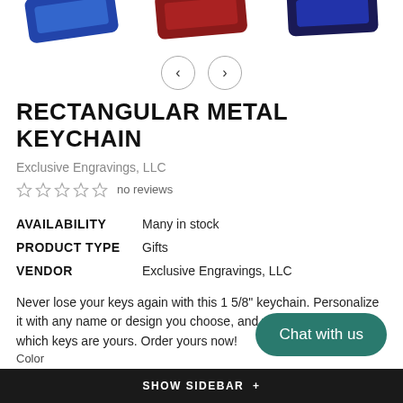[Figure (photo): Partial top view of rectangular metal keychains in blue, red/dark red, and navy colors, cropped at top edge of page]
[Figure (other): Navigation arrows: left chevron and right chevron in circular outlines for image carousel]
RECTANGULAR METAL KEYCHAIN
Exclusive Engravings, LLC
☆☆☆☆☆  no reviews
| AVAILABILITY | Many in stock |
| PRODUCT TYPE | Gifts |
| VENDOR | Exclusive Engravings, LLC |
Never lose your keys again with this 1 5/8" keychain. Personalize it with any name or design you choose, and you'll always know which keys are yours. Order yours now!
$5.00
Chat with us
Color
SHOW SIDEBAR +